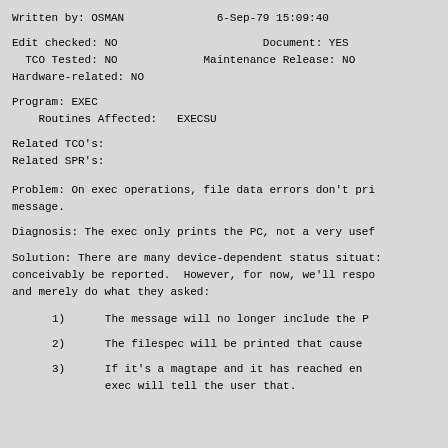Written by: OSMAN                    6-Sep-79 15:09:40
Edit checked: NO                           Document: YES
  TCO Tested: NO                    Maintenance Release: NO
Hardware-related: NO
Program: EXEC
    Routines Affected:   EXECSU
Related TCO's:
Related SPR's:
Problem: On exec operations, file data errors don't pri
message.
Diagnosis: The exec only prints the PC, not a very usef
Solution: There are many device-dependent status situat:
conceivably be reported.  However, for now, we'll respo
and merely do what they asked:
1)      The message will no longer include the P
2)      The filespec will be printed that cause
3)      If it's a magtape and it has reached en
        exec will tell the user that.